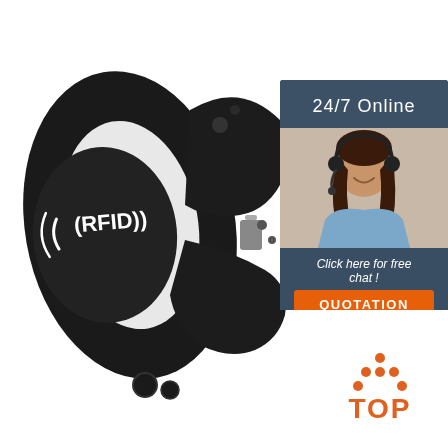[Figure (photo): Black RFID silicone wristband/bracelet with oval face displaying 'RFID' logo with radio wave symbols, shown at an angle on white background]
[Figure (infographic): Customer service chat widget with dark blue/slate background, text '24/7 Online', photo of smiling woman with headset, text 'Click here for free chat !', and orange button labeled 'QUOTATION']
[Figure (logo): Orange 'TOP' logo with upward arrow made of dots above the word TOP in orange text]